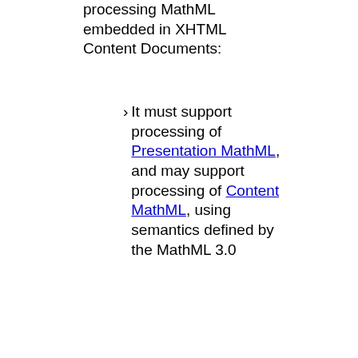processing MathML embedded in XHTML Content Documents:
It must support processing of Presentation MathML, and may support processing of Content MathML, using semantics defined by the MathML 3.0